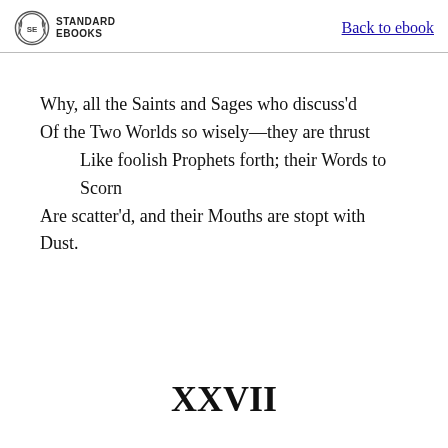STANDARD EBOOKS | Back to ebook
Why, all the Saints and Sages who discuss'd
Of the Two Worlds so wisely—they are thrust
    Like foolish Prophets forth; their Words to Scorn
Are scatter'd, and their Mouths are stopt with Dust.
XXVII